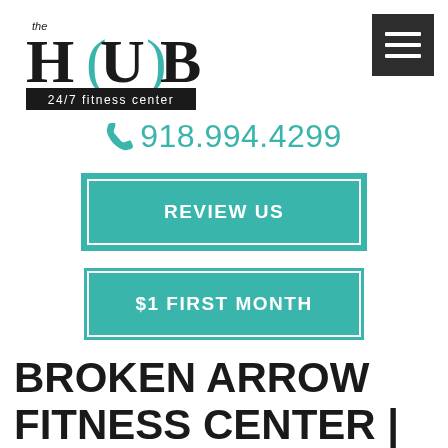[Figure (logo): The HUB 24/7 fitness center logo — large stylized text with teal bracket characters around 'HUB', subtitle '24/7 fitness center' on black bar]
[Figure (other): Hamburger menu button — dark square with three white horizontal lines]
918.994.4299
REVIEW US
$1 FIRST MONTH
BROKEN ARROW FITNESS CENTER |